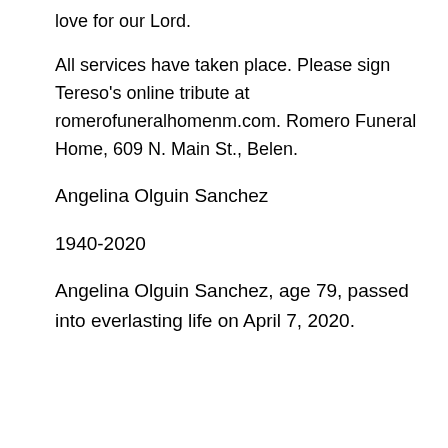love for our Lord.
All services have taken place. Please sign Tereso's online tribute at romerofuneralhomenm.com. Romero Funeral Home, 609 N. Main St., Belen.
Angelina Olguin Sanchez
1940-2020
Angelina Olguin Sanchez, age 79, passed into everlasting life on April 7, 2020.